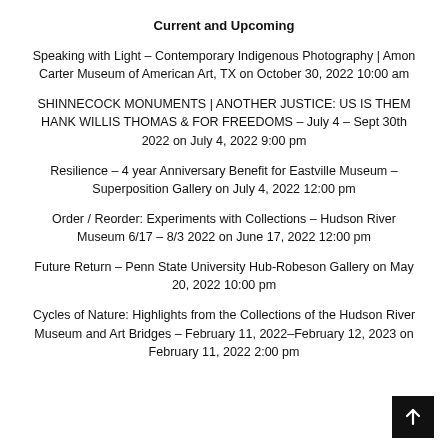Current and Upcoming
Speaking with Light – Contemporary Indigenous Photography | Amon Carter Museum of American Art, TX on October 30, 2022 10:00 am
SHINNECOCK MONUMENTS | ANOTHER JUSTICE: US IS THEM HANK WILLIS THOMAS & FOR FREEDOMS – July 4 – Sept 30th 2022 on July 4, 2022 9:00 pm
Resilience – 4 year Anniversary Benefit for Eastville Museum – Superposition Gallery on July 4, 2022 12:00 pm
Order / Reorder: Experiments with Collections – Hudson River Museum 6/17 – 8/3 2022 on June 17, 2022 12:00 pm
Future Return – Penn State University Hub-Robeson Gallery on May 20, 2022 10:00 pm
Cycles of Nature: Highlights from the Collections of the Hudson River Museum and Art Bridges – February 11, 2022–February 12, 2023 on February 11, 2022 2:00 pm